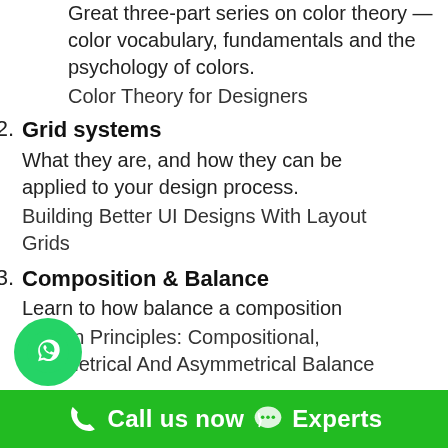1. Color
Great three-part series on color theory — color vocabulary, fundamentals and the psychology of colors.
Color Theory for Designers
2. Grid systems
What they are, and how they can be applied to your design process.
Building Better UI Designs With Layout Grids
3. Composition & Balance
Learn to how balance a composition
Design Principles: Compositional, Symmetrical And Asymmetrical Balance
4. Typography
Better Web Type is an easy-to-follow web typography email course for web designers & web developers.
Created by Matej Latin
Call us now  Experts